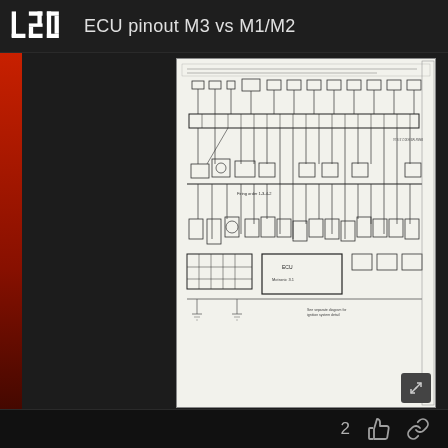ECU pinout M3 vs M1/M2
[Figure (schematic): ECU wiring/pinout schematic diagram for M3 engine, showing complex electrical connections, connectors, and circuit layout on white background]
diagram M3
looking at this, I think it might be possible to use the engine-harness from the M3 and figure something out for the fusebox, but I'm still not sure.
2 👍 🔗